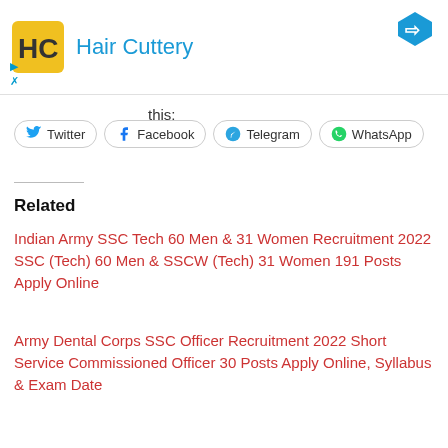[Figure (logo): Hair Cuttery advertisement banner with yellow logo and blue text]
this:
Twitter  Facebook  Telegram  WhatsApp
Related
Indian Army SSC Tech 60 Men & 31 Women Recruitment 2022 SSC (Tech) 60 Men & SSCW (Tech) 31 Women 191 Posts Apply Online
Army Dental Corps SSC Officer Recruitment 2022 Short Service Commissioned Officer 30 Posts Apply Online, Syllabus & Exam Date